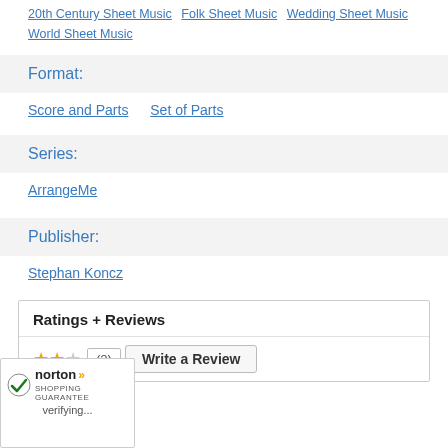20th Century Sheet Music  Folk Sheet Music  Wedding Sheet Music  World Sheet Music
Format:
Score and Parts  Set of Parts
Series:
ArrangeMe
Publisher:
Stephan Koncz
Ratings + Reviews
(2)  Write a Review
[Figure (logo): Norton Shopping Guarantee badge with checkmark, text 'norton', double-arrow icon, 'SHOPPING GUARANTEE' label, and 'verifying...' status text]